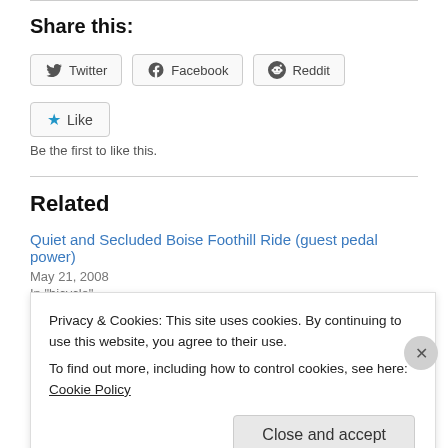Share this:
Twitter  Facebook  Reddit
★ Like
Be the first to like this.
Related
Quiet and Secluded Boise Foothill Ride (guest pedal power)
May 21, 2008
In "bicycle"
Privacy & Cookies: This site uses cookies. By continuing to use this website, you agree to their use.
To find out more, including how to control cookies, see here: Cookie Policy
Close and accept